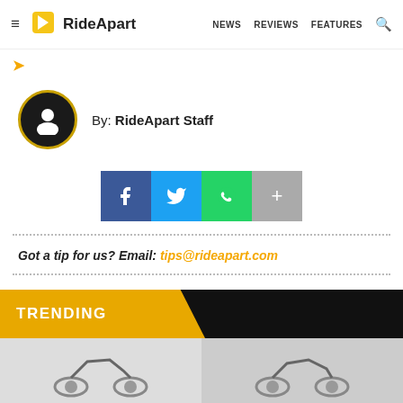RideApart — NEWS  REVIEWS  FEATURES
[Figure (other): Breadcrumb navigation arrow in orange]
[Figure (other): Author avatar circle with person icon, gold border]
By: RideApart Staff
[Figure (other): Social share buttons: Facebook, Twitter, WhatsApp, More]
Got a tip for us? Email: tips@rideapart.com
TRENDING
[Figure (photo): Two motorcycle thumbnail images at bottom of page]